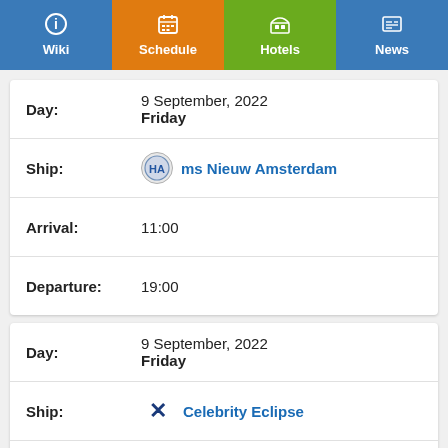Wiki | Schedule | Hotels | News
| Field | Value |
| --- | --- |
| Day: | 9 September, 2022
Friday |
| Ship: | ms Nieuw Amsterdam |
| Arrival: | 11:00 |
| Departure: | 19:00 |
| Field | Value |
| --- | --- |
| Day: | 9 September, 2022
Friday |
| Ship: | Celebrity Eclipse |
| Arrival: | 14:00 |
| Departure: | 20:00 |